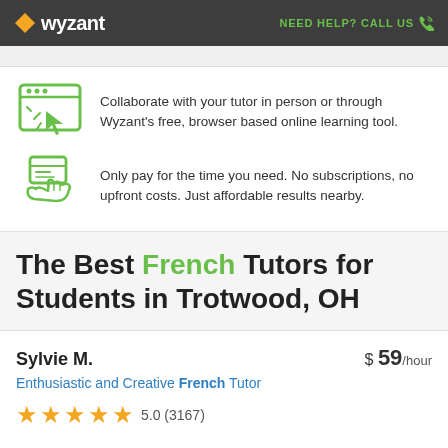wyzant | NEED HELP? CALL US
Collaborate with your tutor in person or through Wyzant's free, browser based online learning tool.
Only pay for the time you need. No subscriptions, no upfront costs. Just affordable results nearby.
The Best French Tutors for Students in Trotwood, OH
Sylvie M. $ 59/hour
Enthusiastic and Creative French Tutor
5.0 (3167)